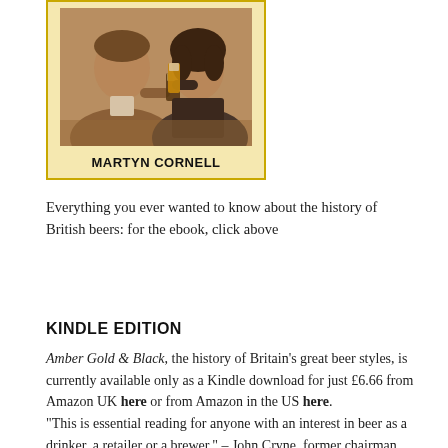[Figure (photo): Book cover showing a vintage sepia-toned photograph of a man and woman clinking glasses of beer, with the author name MARTYN CORNELL printed below on a cream/gold background.]
Everything you ever wanted to know about the history of British beers: for the ebook, click above
KINDLE EDITION
Amber Gold & Black, the history of Britain's great beer styles, is currently available only as a Kindle download for just £6.66 from Amazon UK here or from Amazon in the US here. "This is essential reading for anyone with an interest in beer as a drinker, a retailer or a brewer." – John Cryne, former chairman, Campaign for Real Ale